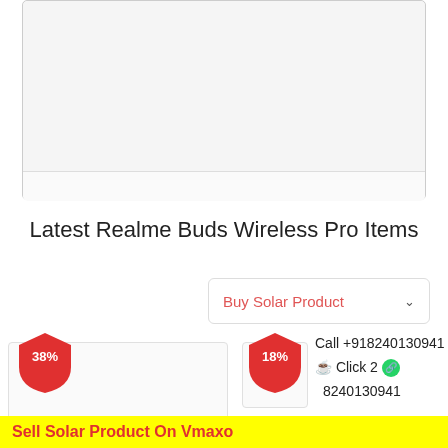[Figure (screenshot): Empty product image placeholder box with light gray background and bottom strip]
Latest Realme Buds Wireless Pro Items
Buy Solar Product ∨
Call +918240130941
Click 2 🟢 8240130941
[Figure (photo): Product card with 38% discount badge]
[Figure (photo): Product card with 18% discount badge]
Sell Solar Product On Vmaxo